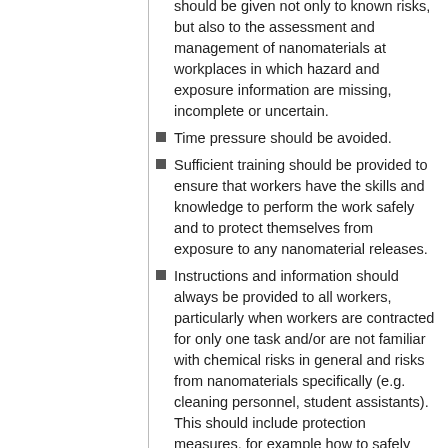should be given not only to known risks, but also to the assessment and management of nanomaterials at workplaces in which hazard and exposure information are missing, incomplete or uncertain.
Time pressure should be avoided.
Sufficient training should be provided to ensure that workers have the skills and knowledge to perform the work safely and to protect themselves from exposure to any nanomaterial releases.
Instructions and information should always be provided to all workers, particularly when workers are contracted for only one task and/or are not familiar with chemical risks in general and risks from nanomaterials specifically (e.g. cleaning personnel, student assistants). This should include protection measures, for example how to safely handle pharmaceuticals or samples containing nanomaterials; grind or polish fillings and surfaces containing nanomaterials; and